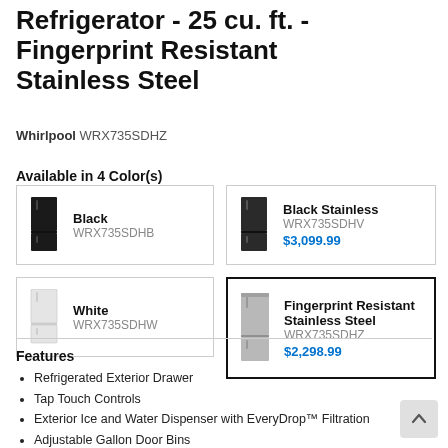Refrigerator - 25 cu. ft. - Fingerprint Resistant Stainless Steel
Whirlpool WRX735SDHZ
Available in 4 Color(s)
| Image | Color | Model | Price |
| --- | --- | --- | --- |
| [black fridge] | Black | WRX735SDHB |  |
| [black stainless fridge] | Black Stainless | WRX735SDHV | $3,099.99 |
| [white fridge] | White | WRX735SDHW |  |
| [stainless fridge] | Fingerprint Resistant Stainless Steel | WRX735SDHZ | $2,298.99 |
Features
Refrigerated Exterior Drawer
Tap Touch Controls
Exterior Ice and Water Dispenser with EveryDrop™ Filtration
Adjustable Gallon Door Bins